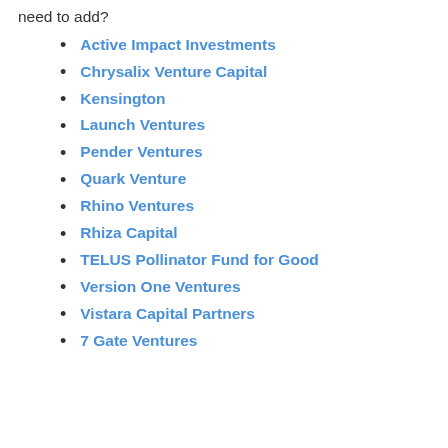need to add?
Active Impact Investments
Chrysalix Venture Capital
Kensington
Launch Ventures
Pender Ventures
Quark Venture
Rhino Ventures
Rhiza Capital
TELUS Pollinator Fund for Good
Version One Ventures
Vistara Capital Partners
7 Gate Ventures